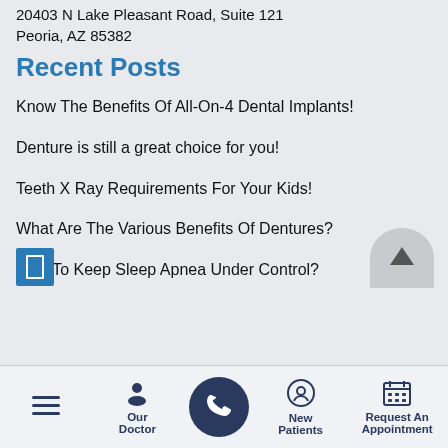20403 N Lake Pleasant Road, Suite 121
Peoria, AZ 85382
Recent Posts
Know The Benefits Of All-On-4 Dental Implants!
Denture is still a great choice for you!
Teeth X Ray Requirements For Your Kids!
What Are The Various Benefits Of Dentures?
How To Keep Sleep Apnea Under Control?
Our Doctor | New Patients | Request An Appointment